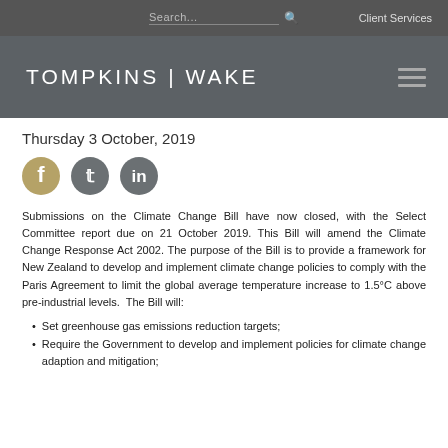Search... Client Services
[Figure (logo): Tompkins Wake law firm logo with hamburger menu icon on dark grey background]
Thursday 3 October, 2019
[Figure (illustration): Social media sharing icons: Facebook (gold/tan), Twitter (grey), LinkedIn (grey)]
Submissions on the Climate Change Bill have now closed, with the Select Committee report due on 21 October 2019. This Bill will amend the Climate Change Response Act 2002. The purpose of the Bill is to provide a framework for New Zealand to develop and implement climate change policies to comply with the Paris Agreement to limit the global average temperature increase to 1.5°C above pre-industrial levels. The Bill will:
Set greenhouse gas emissions reduction targets;
Require the Government to develop and implement policies for climate change adaption and mitigation;